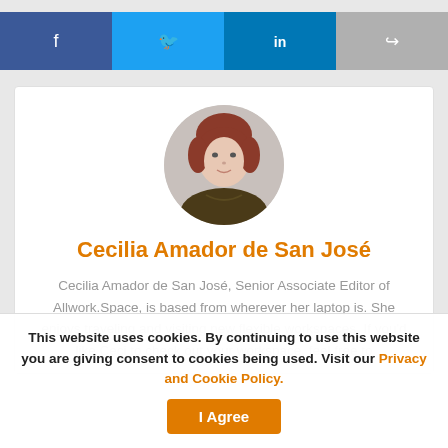[Figure (other): Social share bar with Facebook (dark blue), Twitter (light blue), LinkedIn (teal blue), and forward/share (grey) buttons]
[Figure (photo): Circular profile photo of Cecilia Amador de San José, a woman with reddish-brown hair wearing a dark patterned top]
Cecilia Amador de San José
Cecilia Amador de San José, Senior Associate Editor of Allwork.Space, is based from wherever her laptop is. She enjoys traveling and visiting new flexible workspaces. If you'd like Ceci to check out your workspace, feel free to
This website uses cookies. By continuing to use this website you are giving consent to cookies being used. Visit our Privacy and Cookie Policy.